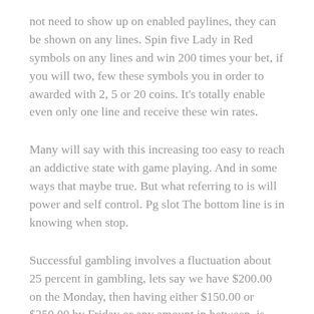not need to show up on enabled paylines, they can be shown on any lines. Spin five Lady in Red symbols on any lines and win 200 times your bet, if you will two, few these symbols you in order to awarded with 2, 5 or 20 coins. It's totally enable even only one line and receive these win rates.
Many will say with this increasing too easy to reach an addictive state with game playing. And in some ways that maybe true. But what referring to is will power and self control. Pg slot The bottom line is in knowing when stop.
Successful gambling involves a fluctuation about 25 percent in gambling, lets say we have $200.00 on the Monday, then having either $150.00 or $250.00 by Friday or any amount in between, is thought of as successful gambling online.